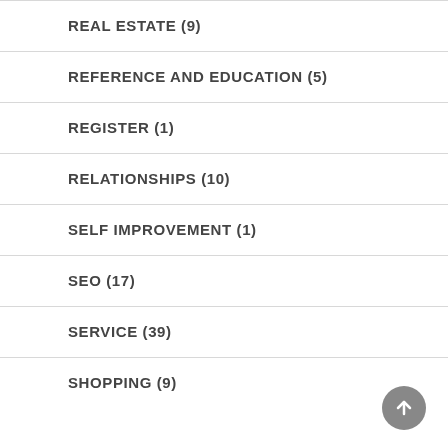REAL ESTATE (9)
REFERENCE AND EDUCATION (5)
REGISTER (1)
RELATIONSHIPS (10)
SELF IMPROVEMENT (1)
SEO (17)
SERVICE (39)
SHOPPING (9)